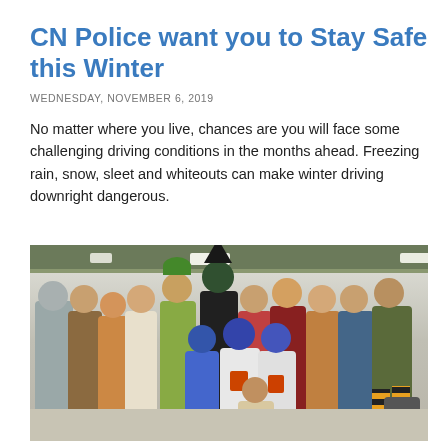CN Police want you to Stay Safe this Winter
WEDNESDAY, NOVEMBER 6, 2019
No matter where you live, chances are you will face some challenging driving conditions in the months ahead. Freezing rain, snow, sleet and whiteouts can make winter driving downright dangerous.
[Figure (photo): Group photo of people in Halloween costumes including Wizard of Oz characters (Tin Man, witches, scarecrows, blue-painted characters) standing and kneeling in what appears to be an indoor facility with a green metal roof structure and fluorescent lighting.]